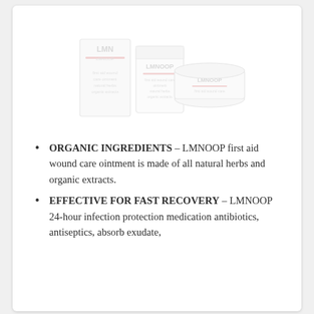[Figure (photo): Product photo showing LMNOOP branded cream/ointment containers — two jars and a box — in white and light pink packaging, rendered faded/light.]
ORGANIC INGREDIENTS – LMNOOP first aid wound care ointment is made of all natural herbs and organic extracts.
EFFECTIVE FOR FAST RECOVERY – LMNOOP 24-hour infection protection medication antibiotics, antiseptics, absorb exudate,